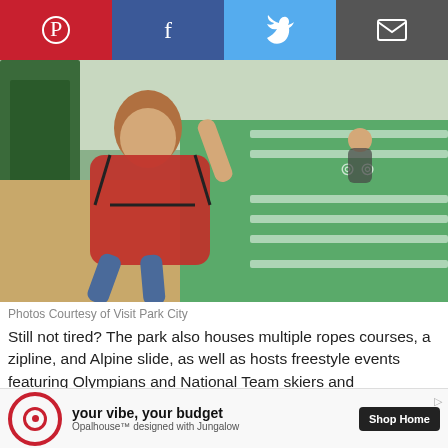[Figure (photo): Child on zipline harness suspended over an alpine slide / outdoor adventure park track, with Olympic rings visible in background]
Photos Courtesy of Visit Park City
Still not tired? The park also houses multiple ropes courses, a zipline, and Alpine slide, as well as hosts freestyle events featuring Olympians and National Team skiers and snowboarders performing sky-high tricks before landing in the Olympic Freestyle Pool.
Visiting Park City
[Figure (infographic): Target advertisement banner: 'your vibe, your budget' — Opalhouse™ designed with Jungalow, Shop Home button]